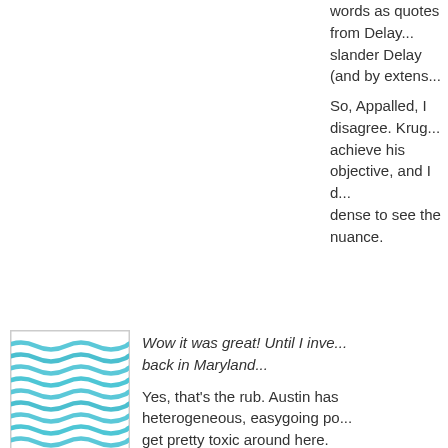words as quotes from Delay... slander Delay (and by extens...
So, Appalled, I disagree. Krug... achieve his objective, and I d... dense to see the nuance.
[Figure (illustration): Square avatar image with blue wavy horizontal lines pattern on white background]
Wow it was great! Until I inve... back in Maryland...
Yes, that's the rub. Austin has heterogeneous, easygoing po... get pretty toxic around here.
But don't let that discourage y... exception not the rule, as I'm...
[Figure (illustration): Square avatar image with red/pink geometric cracked or fragmented pattern on light background]
daddy:"It is a shame that we codes/regulations/procedures ought to know better from doi...
Actually, I think the problem is...